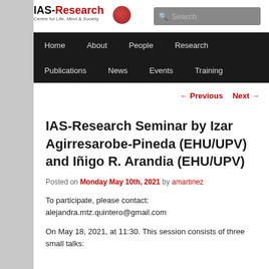IAS-Research Centre for Life, Mind & Society
Search
Home | About | People | Research | Publications | News | Events | Training
← Previous   Next →
IAS-Research Seminar by Izar Agirresarobe-Pineda (EHU/UPV) and Iñigo R. Arandia (EHU/UPV)
Posted on Monday May 10th, 2021 by amartinez
To participate, please contact:
alejandra.mtz.quintero@gmail.com
On May 18, 2021, at 11:30. This session consists of three small talks: